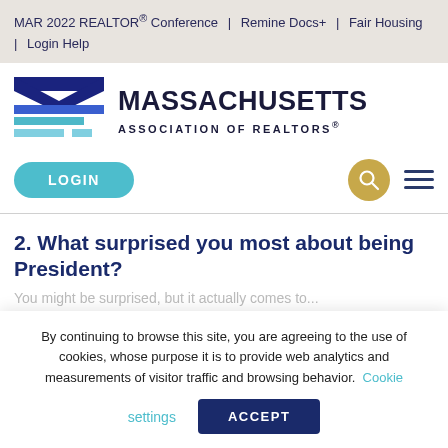MAR 2022 REALTOR® Conference  |  Remine Docs+  |  Fair Housing  |  Login Help
[Figure (logo): Massachusetts Association of Realtors logo with stylized M and wave shapes in navy and teal blues]
2. What surprised you most about being President?
By continuing to browse this site, you are agreeing to the use of cookies, whose purpose it is to provide web analytics and measurements of visitor traffic and browsing behavior. Cookie settings  ACCEPT